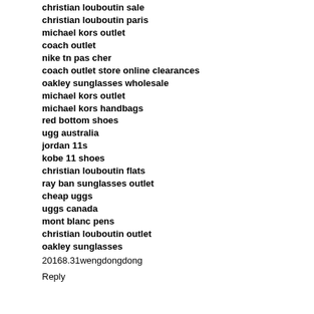christian louboutin sale
christian louboutin paris
michael kors outlet
coach outlet
nike tn pas cher
coach outlet store online clearances
oakley sunglasses wholesale
michael kors outlet
michael kors handbags
red bottom shoes
ugg australia
jordan 11s
kobe 11 shoes
christian louboutin flats
ray ban sunglasses outlet
cheap uggs
uggs canada
mont blanc pens
christian louboutin outlet
oakley sunglasses
20168.31wengdongdong
Reply